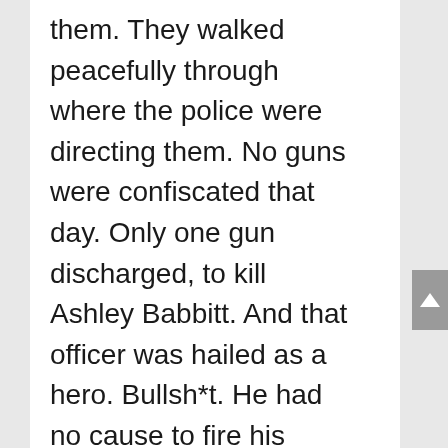them. They walked peacefully through where the police were directing them. No guns were confiscated that day. Only one gun discharged, to kill Ashley Babbitt. And that officer was hailed as a hero. Bullsh*t. He had no cause to fire his weapon into a crowd. That day was a complete sham created by the DNC Crime Syndicate operatives weeks ahead. The truth